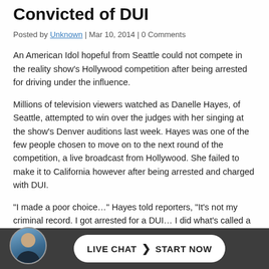Seattle American Idol Hopeful Convicted of DUI
Posted by Unknown | Mar 10, 2014 | 0 Comments
An American Idol hopeful from Seattle could not compete in the reality show's Hollywood competition after being arrested for driving under the influence.
Millions of television viewers watched as Danelle Hayes, of Seattle, attempted to win over the judges with her singing at the show's Denver auditions last week. Hayes was one of the few people chosen to move on to the next round of the competition, a live broadcast from Hollywood. She failed to make it to California however after being arrested and charged with DUI.
“I made a poor choice…” Hayes told reporters, “It’s not my criminal record. I got arrested for a DUI… I did what’s called a deferred prosecution so in seven years if I’m good, it’s then erase… my r… …n for